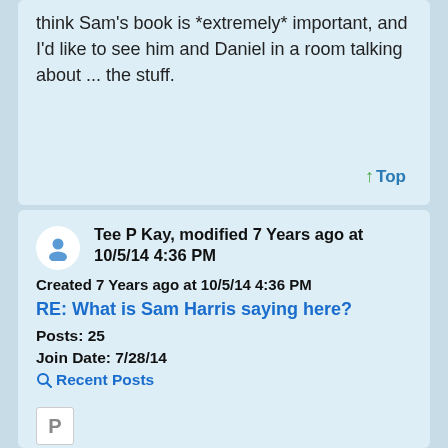think Sam's book is *extremely* important, and I'd like to see him and Daniel in a room talking about ... the stuff.
↑ Top
Tee P Kay, modified 7 Years ago at 10/5/14 4:36 PM
Created 7 Years ago at 10/5/14 4:36 PM
RE: What is Sam Harris saying here?
Posts: 25
Join Date: 7/28/14
Recent Posts